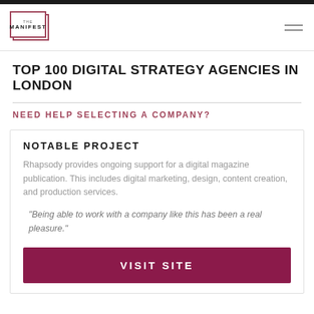THE MANIFEST
TOP 100 DIGITAL STRATEGY AGENCIES IN LONDON
NEED HELP SELECTING A COMPANY?
NOTABLE PROJECT
Rhapsody provides ongoing support for a digital magazine publication. This includes digital marketing, design, content creation, and production services.
"Being able to work with a company like this has been a real pleasure."
VISIT SITE